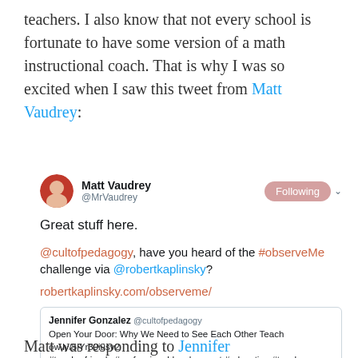teachers. I also know that not every school is fortunate to have some version of a math instructional coach.  That is why I was so excited when I saw this tweet from Matt Vaudrey:
[Figure (screenshot): Embedded tweet from Matt Vaudrey (@MrVaudrey) with a Following button. Tweet text: 'Great stuff here. @cultofpedagogy, have you heard of the #observeMe challenge via @robertkaplinsky? robertkaplinsky.com/observeme/' with a quoted tweet from Jennifer Gonzalez @cultofpedagogy: 'Open Your Door: Why We Need to See Each Other Teach ow.ly/5iYr30iusv2 #teacherfriends #professionaldevelopment #education #teachers'. Timestamp: 6:16 PM - 2 Aug 2018]
Matt was responding to Jennifer